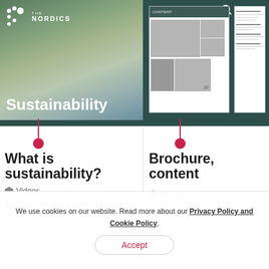[Figure (screenshot): The Nordics website screenshot showing logo with dots pattern, 'Sustainability' text on nature background image, search icon, 'tool' text, hamburger menu, and 'TENT' text. Right side shows brochure content preview and document content page.]
What is sustainability?
Videos
We have created a series of
Brochure, content
Templates
We use cookies on our website. Read more about our Privacy Policy and Cookie Policy.
Accept